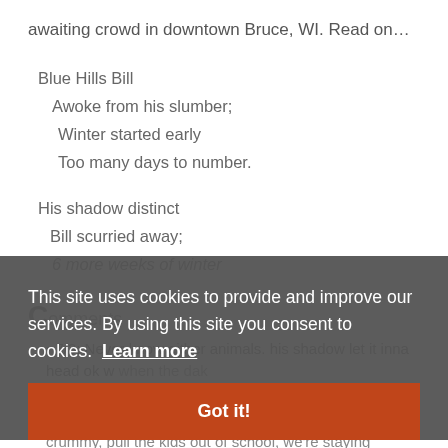awaiting crowd in downtown Bruce, WI. Read on…
Blue Hills Bill
  Awoke from his slumber;
   Winter started early
    Too many days to number.

His shadow distinct
  Bill scurried away;
   6 more weeks of winter
Comments
7/3: Never know either animals. his shadow let it inna head ok w when the dak 6 But 5 Ou
7/2: This winter in southern Wisconsin has been crummy, pull the kids out of school, we're staying
This site uses cookies to provide and improve our services. By using this site you consent to cookies. Learn more
Got it!